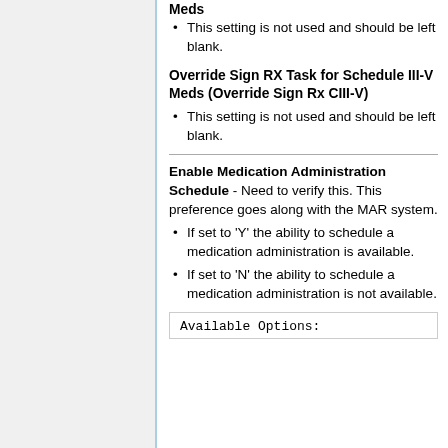Meds
This setting is not used and should be left blank.
Override Sign RX Task for Schedule III-V Meds (Override Sign Rx CIII-V)
This setting is not used and should be left blank.
Enable Medication Administration Schedule - Need to verify this. This preference goes along with the MAR system.
If set to 'Y' the ability to schedule a medication administration is available.
If set to 'N' the ability to schedule a medication administration is not available.
Available Options: